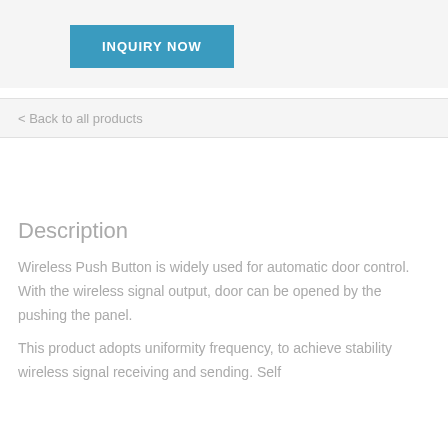[Figure (other): INQUIRY NOW button - teal/blue rectangular button with white bold uppercase text]
< Back to all products
Description
Wireless Push Button is widely used for automatic door control. With the wireless signal output, door can be opened by the pushing the panel.
This product adopts uniformity frequency, to achieve stability wireless signal receiving and sending. Self